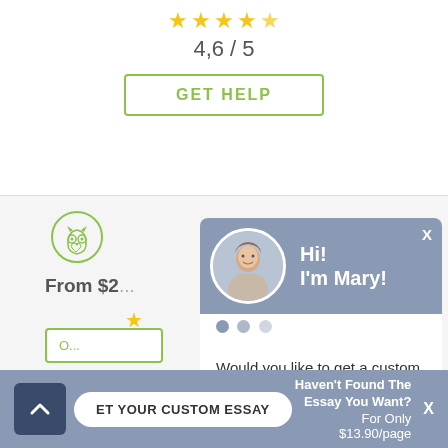[Figure (other): Five gold star rating icons]
4,6 / 5
GET HELP
[Figure (logo): Owl logo icon for writing service]
From $2...
[Figure (other): Yellow star rating icon]
Hi! I'm Mary!
Would you like to get a custom essay? How about receiving a customized one?
Check it out
* All Partners were chosen...
Customer...
Haven't Found The Essay You Want?
ET YOUR CUSTOM ESSAY
For Only $13.90/page